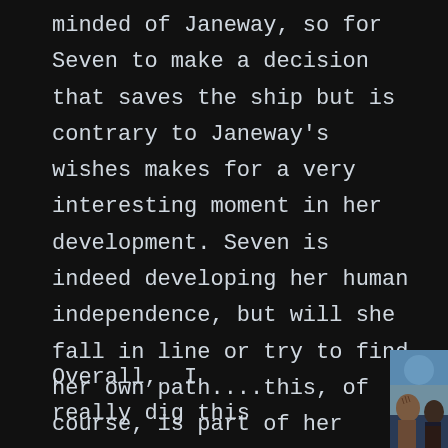minded of Janeway, so for Seven to make a decision that saves the ship but is contrary to Janeway's wishes makes for a very interesting moment in her development. Seven is indeed developing her human independence, but will she fall in line or try to find her own path....this, of course, is part of her journey that we get to see as the series progresses. It certainly makes for some great drama, making this episode well worth it.
Overall,  I really dig this
[Figure (photo): Two figures in conversation, one appears to be a person with elaborate forehead makeup/prosthetics (likely a Star Trek alien character), seen in profile. Background shows blue/grey tones suggesting a starship interior.]